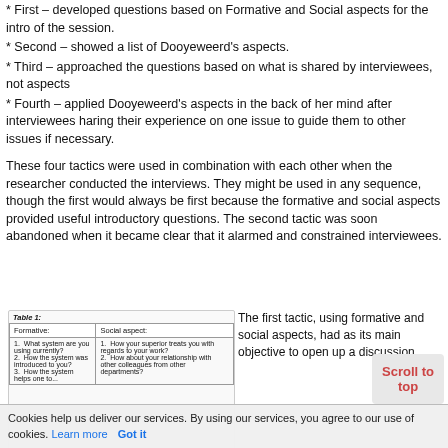* First – developed questions based on Formative and Social aspects for the intro of the session.
* Second – showed a list of Dooyeweerd's aspects.
* Third – approached the questions based on what is shared by interviewees, not aspects
* Fourth – applied Dooyeweerd's aspects in the back of her mind after interviewees haring their experience on one issue to guide them to other issues if necessary.
These four tactics were used in combination with each other when the researcher conducted the interviews. They might be used in any sequence, though the first would always be first because the formative and social aspects provided useful introductory questions. The second tactic was soon abandoned when it became clear that it alarmed and constrained interviewees.
| Formative: | Social aspect: |
| --- | --- |
| 1. What system are you using currently?
2. How the system was introduced to you?
3. How the system helps one to... | 1. How your superior treats you with regards to your work?
2. How about your relationship with other colleagues from other departments? |
The first tactic, using formative and social aspects, had as its main objective to open up a discussion...
Cookies help us deliver our services. By using our services, you agree to our use of cookies. Learn more  Got it